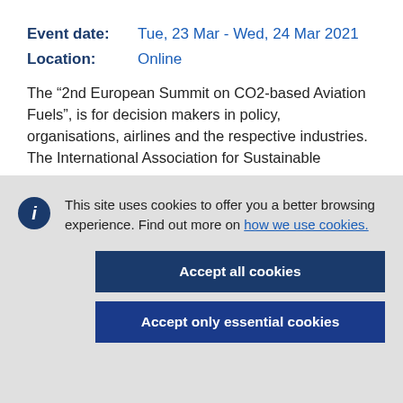Event date:  Tue, 23 Mar - Wed, 24 Mar 2021
Location:  Online
The “2nd European Summit on CO2-based Aviation Fuels”, is for decision makers in policy, organisations, airlines and the respective industries. The International Association for Sustainable
This site uses cookies to offer you a better browsing experience. Find out more on how we use cookies.
Accept all cookies
Accept only essential cookies